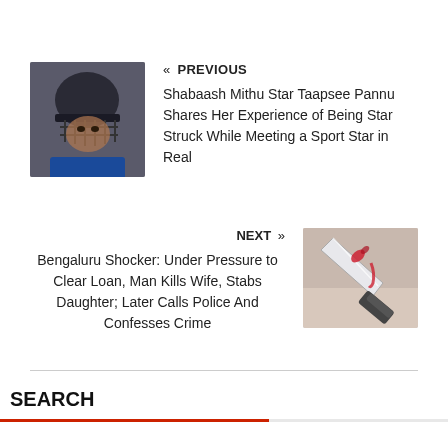[Figure (photo): Thumbnail of a cricket player wearing a helmet and facing camera, PREVIOUS article image]
« PREVIOUS
Shabaash Mithu Star Taapsee Pannu Shares Her Experience of Being Star Struck While Meeting a Sport Star in Real
NEXT »
Bengaluru Shocker: Under Pressure to Clear Loan, Man Kills Wife, Stabs Daughter; Later Calls Police And Confesses Crime
[Figure (photo): Thumbnail showing a knife with blood, NEXT article image]
SEARCH